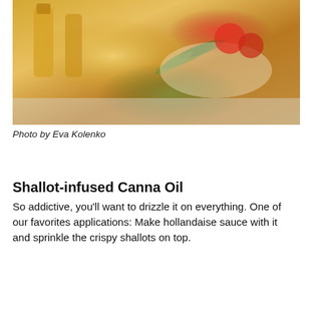[Figure (photo): Overhead photo of olive oil bottles and dishes with herbs and tomatoes on a light surface]
Photo by Eva Kolenko
Shallot-infused Canna Oil
So addictive, you'll want to drizzle it on everything. One of our favorites applications: Make hollandaise sauce with it and sprinkle the crispy shallots on top.
1½ cups neutral-flavored oil
2 large shallots, peeled and thinly sliced
5 grams decarboxylated cannabis
Salt, to taste
In a medium saucepan, heat oil over medium heat until hot. Add shallots, and reduce heat to a low simmer. Slowly fry until golden brown, about 10